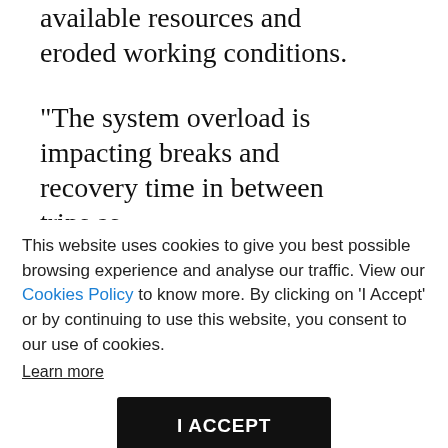available resources and eroded working conditions.
“The system overload is impacting breaks and recovery time in between trips as
drivers struggle to maintain
This website uses cookies to give you best possible browsing experience and analyse our traffic. View our Cookies Policy to know more. By clicking on ‘I Accept’ or by continuing to use this website, you consent to our use of cookies.
Learn more
I ACCEPT
and ensure safety, have the most
be made
The workers have been